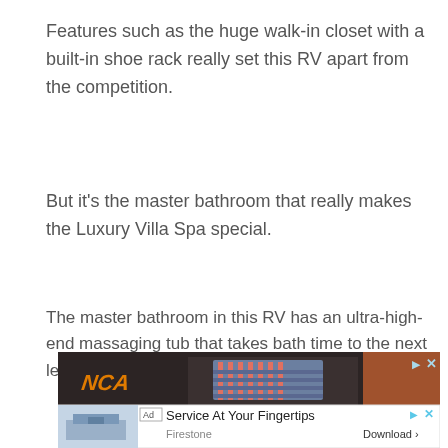Features such as the huge walk-in closet with a built-in shoe rack really set this RV apart from the competition.
But it's the master bathroom that really makes the Luxury Villa Spa special.
The master bathroom in this RV has an ultra-high-end massaging tub that takes bath time to the next level.
[Figure (screenshot): Advertisement banner showing a person in plaid shirt, with an ad for Firestone 'Service At Your Fingertips' with a Download button]